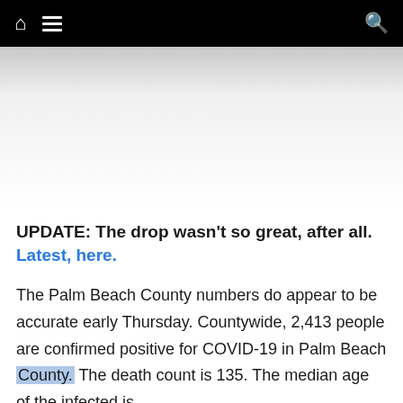Navigation bar with home icon, hamburger menu, and search icon
[Figure (other): Advertisement / blank area placeholder with gray gradient background]
UPDATE: The drop wasn't so great, after all. Latest, here.
The Palm Beach County numbers do appear to be accurate early Thursday. Countywide, 2,413 people are confirmed positive for COVID-19 in Palm Beach County. The death count is 135. The median age of the infected is